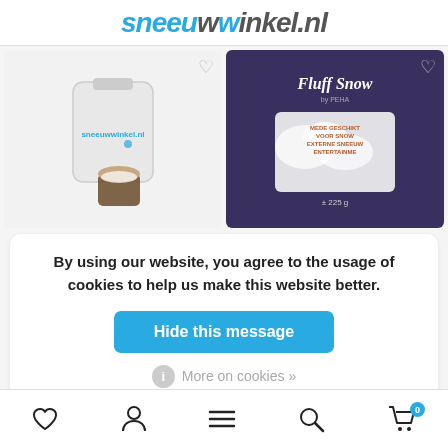sneeuwwinkel.nl
[Figure (photo): Two product images side by side: left shows a white bag of artificial snow with sneeuwwinkel.nl branding and a small open container of snow; right shows a purple package labeled Fluff Snow by PEHA approximately 225g]
By using our website, you agree to the usage of cookies to help us make this website better.
Hide this message
More on cookies »
Navigation bar: heart icon, person icon, menu icon, search icon, cart icon with badge 0